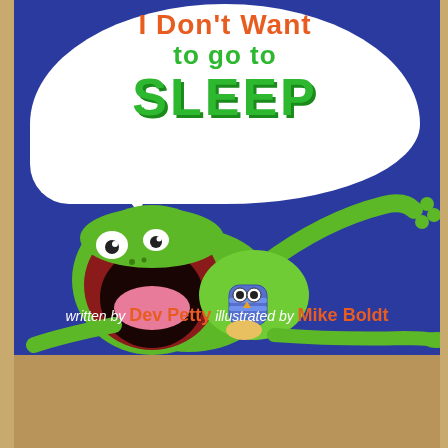[Figure (illustration): Children's book cover showing a green cartoon frog lying on its back with its enormous mouth wide open (dark interior with pink tongue), wide white eyes, and long green limbs stretched out. The frog holds a small blue stuffed owl toy. The background is deep blue. A large white speech bubble emerges from the top with the title text inside. The bottom portion of the cover is tan/brown. The title reads 'I Don't Want to Go to Sleep' written by Dev Petty, illustrated by Mike Boldt.]
I Don't Want to Go to SLEEP
written by Dev Petty   illustrated by Mike Boldt